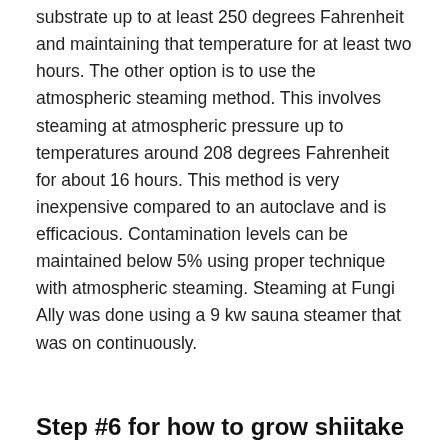substrate up to at least 250 degrees Fahrenheit and maintaining that temperature for at least two hours. The other option is to use the atmospheric steaming method. This involves steaming at atmospheric pressure up to temperatures around 208 degrees Fahrenheit for about 16 hours. This method is very inexpensive compared to an autoclave and is efficacious. Contamination levels can be maintained below 5% using proper technique with atmospheric steaming. Steaming at Fungi Ally was done using a 9 kw sauna steamer that was on continuously.
Step #6 for how to grow shiitake mushrooms: Cooling
Cooling is best done in a positive pressure lab. After the 16-hour steaming is complete, bags are rolled into a positive pressure hepa-filtered lab to cool. Bags are left